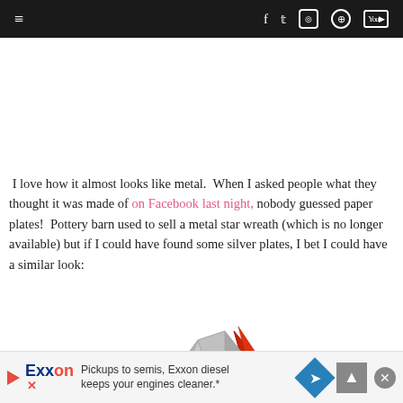≡  f  𝕋  ◎  ⊕  ▶ (navigation bar with social icons)
[Figure (other): White space / advertisement area (blank)]
I love how it almost looks like metal. When I asked people what they thought it was made of on Facebook last night, nobody guessed paper plates!  Pottery barn used to sell a metal star wreath (which is no longer available) but if I could have found some silver plates, I bet I could have a similar look:
[Figure (photo): Partial image of a decorative star wreath made from paper plates, showing silver and red metallic star points]
Pickups to semis, Exxon diesel keeps your engines cleaner.*